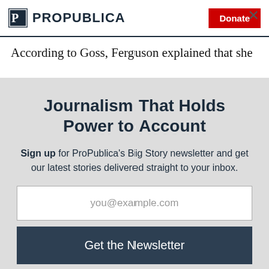ProPublica | Donate
According to Goss, Ferguson explained that she
Journalism That Holds Power to Account
Sign up for ProPublica's Big Story newsletter and get our latest stories delivered straight to your inbox.
you@example.com
Get the Newsletter
No thanks, I'm all set
This site is protected by reCAPTCHA and the Google Privacy Policy and Terms of Service apply.